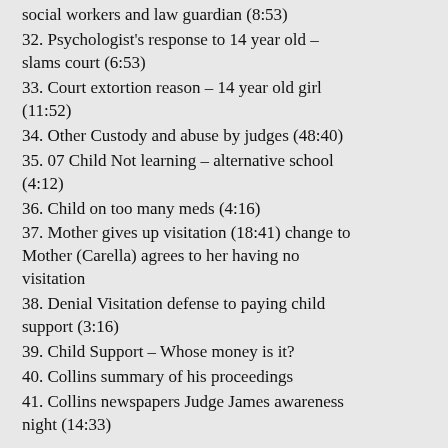social workers and law guardian (8:53)
32. Psychologist's response to 14 year old – slams court (6:53)
33. Court extortion reason – 14 year old girl (11:52)
34. Other Custody and abuse by judges (48:40)
35. 07 Child Not learning – alternative school (4:12)
36. Child on too many meds (4:16)
37. Mother gives up visitation (18:41) change to Mother (Carella) agrees to her having no visitation
38. Denial Visitation defense to paying child support (3:16)
39. Child Support – Whose money is it?
40. Collins summary of his proceedings
41. Collins newspapers Judge James awareness night (14:33)